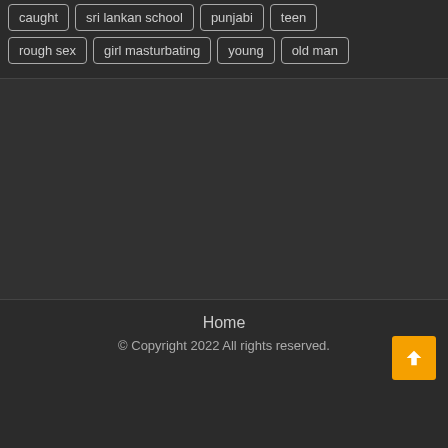caught
sri lankan school
punjabi
teen
rough sex
girl masturbating
young
old man
Home
© Copyright 2022 All rights reserved.